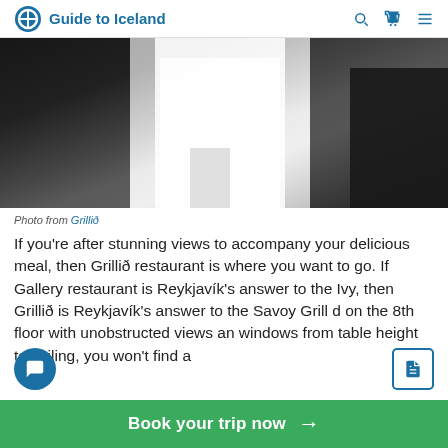Guide to Iceland
[Figure (photo): Black and white photo of a chef in white uniform working in a kitchen]
Photo from Grillið
If you're after stunning views to accompany your delicious meal, then Grillið restaurant is where you want to go. If Gallery restaurant is Reykjavík's answer to the Ivy, then Grillið is Reykjavík's answer to the Savoy Grill d on the 8th floor with unobstructed views an windows from table height to ceiling, you won't find a
Book your trip now